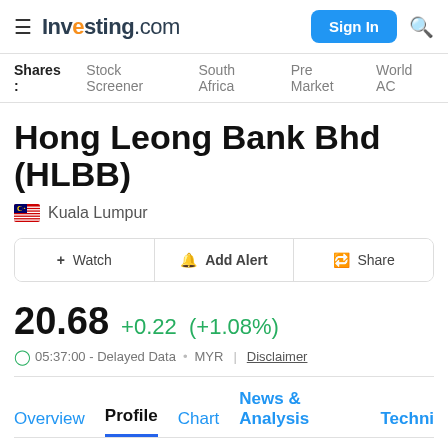Investing.com — Sign In
Shares : Stock Screener  South Africa  Pre Market  World AD
Hong Leong Bank Bhd (HLBB)
Kuala Lumpur
+ Watch  🔔 Add Alert  Share
20.68  +0.22  (+1.08%)
05:37:00 - Delayed Data · MYR | Disclaimer
Overview  Profile  Chart  News & Analysis  Techni